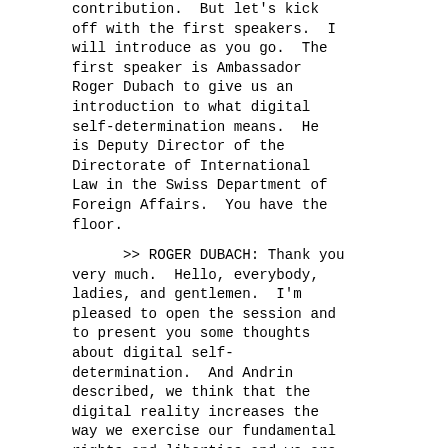contribution.  But let's kick off with the first speakers.  I will introduce as you go.  The first speaker is Ambassador Roger Dubach to give us an introduction to what digital self-determination means.  He is Deputy Director of the Directorate of International Law in the Swiss Department of Foreign Affairs.  You have the floor.
>> ROGER DUBACH: Thank you very much.  Hello, everybody, ladies, and gentlemen.  I'm pleased to open the session and to present you some thoughts about digital self-determination.  And Andrin described, we think that the digital reality increases the way we exercise our fundamental rights and liberties and we are aware that data is the most valuable raw material in digital societies.